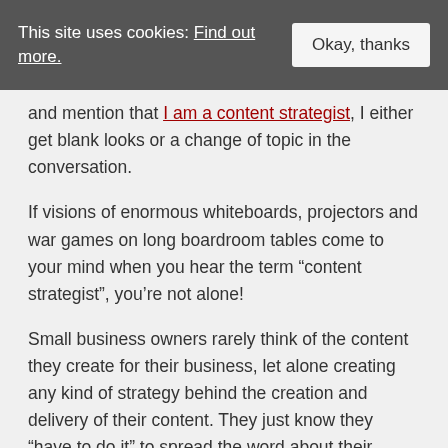This site uses cookies: Find out more. [Okay, thanks button]
and mention that I am a content strategist, I either get blank looks or a change of topic in the conversation.
If visions of enormous whiteboards, projectors and war games on long boardroom tables come to your mind when you hear the term “content strategist”, you’re not alone!
Small business owners rarely think of the content they create for their business, let alone creating any kind of strategy behind the creation and delivery of their content. They just know they “have to do it” to spread the word about their business online.